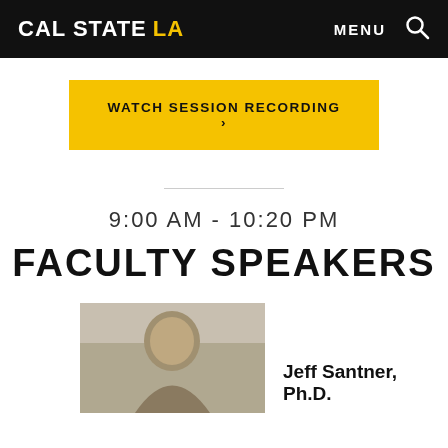CAL STATE LA | MENU 🔍
WATCH SESSION RECORDING ›
9:00 AM - 10:20 PM
FACULTY SPEAKERS
Jeff Santner, Ph.D.